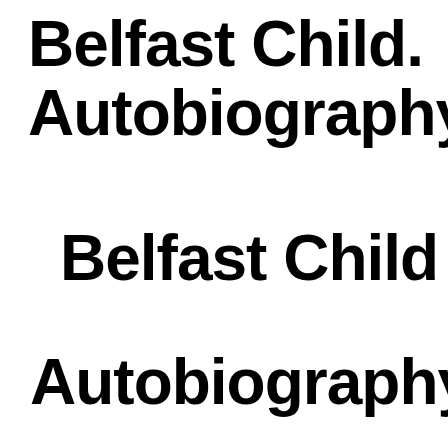Belfast Child. Autobiography.
Belfast Child
Autobiography